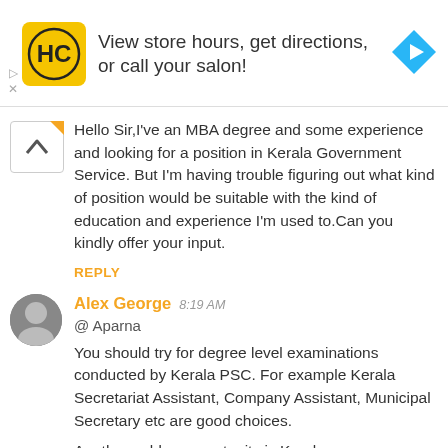[Figure (other): Advertisement banner for HC salon with yellow logo, text 'View store hours, get directions, or call your salon!' and a blue navigation arrow icon]
Hello Sir,I've an MBA degree and some experience and looking for a position in Kerala Government Service. But I'm having trouble figuring out what kind of position would be suitable with the kind of education and experience I'm used to.Can you kindly offer your input.
REPLY
Alex George  8:19 AM
@ Aparna
You should try for degree level examinations conducted by Kerala PSC. For example Kerala Secretariat Assistant, Company Assistant, Municipal Secretary etc are good choices.
Another golden opportunity is Kerala